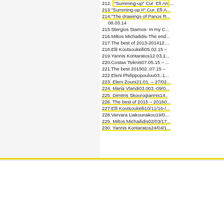212. "Summing-up" Cur. Efi An...
213."Summing-up II" Cur. Efi A...
214."The drawings of Panos R... 08.03.14
215.Stergios Stamos- In my C...
216.Miltos Michailidis-The end...
217.The best of 2013-201412...
218.Elli Koutsoukelli05.02.15 –
219.Yannis Kontaratos12.03.1...
220.Costas Tsiknis07.05.15 –
221.The best 201502..07.15 –
222.Eleni Philippopoulou03..1...
223. Eleni Zouni21.01. – 27/02...
224. Maria Vlandi03.003.-09/0...
225. Dimitris Skourogiannis14...
226. The best of 2015 – 20160...
227.Elli Koutsoukelli10/11/16-/...
228.Varvara Liakounakou19/0...
229. Miltos Michailidis02/03/17...
230. Yannis Kontaratos24/04/1...
[Figure (logo): MEDUSA ART GALLERY logo, Since 1979]
Home   About us   Interviews   Exhi...
Xenokratous Street 7 , 106 75, Kolonaki, Athens, ... Copyright © 2011 | Designed by all things web